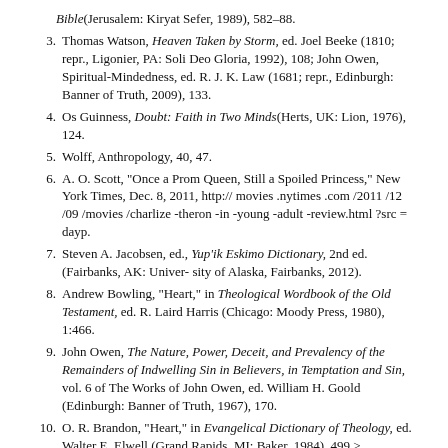(continuation) Bible(Jerusalem: Kiryat Sefer, 1989), 582–88.
3. Thomas Watson, Heaven Taken by Storm, ed. Joel Beeke (1810; repr., Ligonier, PA: Soli Deo Gloria, 1992), 108; John Owen, Spiritual-Mindedness, ed. R. J. K. Law (1681; repr., Edinburgh: Banner of Truth, 2009), 133.
4. Os Guinness, Doubt: Faith in Two Minds(Herts, UK: Lion, 1976), 124.
5. Wolff, Anthropology, 40, 47.
6. A. O. Scott, "Once a Prom Queen, Still a Spoiled Princess," New York Times, Dec. 8, 2011, http:// movies .nytimes .com /2011 /12 /09 /movies /charlize -theron -in -young -adult -review.html ?src = dayp.
7. Steven A. Jacobsen, ed., Yup'ik Eskimo Dictionary, 2nd ed. (Fairbanks, AK: Univer- sity of Alaska, Fairbanks, 2012).
8. Andrew Bowling, "Heart," in Theological Wordbook of the Old Testament, ed. R. Laird Harris (Chicago: Moody Press, 1980), 1:466.
9. John Owen, The Nature, Power, Deceit, and Prevalency of the Remainders of Indwelling Sin in Believers, in Temptation and Sin, vol. 6 of The Works of John Owen, ed. William H. Goold (Edinburgh: Banner of Truth, 1967), 170.
10. O. R. Brandon, "Heart," in Evangelical Dictionary of Theology, ed. Walter E. Elwell (Grand Rapids, MI: Baker, 1984), 499.>
11. . John W. Cooper, Body, Soul, and Life Everlasting (Grand Rapids, MI: Eerdmans, 1989), 42. Cf. Peter Hubbard, Love into Light: The Gospel, the Homosexual and the Church (Greenville, SC: Ambassador